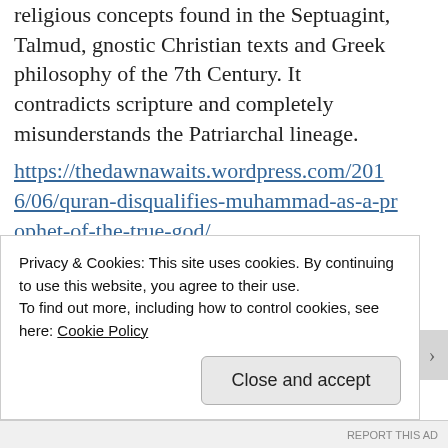religious concepts found in the Septuagint, Talmud, gnostic Christian texts and Greek philosophy of the 7th Century. It contradicts scripture and completely misunderstands the Patriarchal lineage.
https://thedawnawaits.wordpress.com/2016/06/quran-disqualifies-muhammad-as-a-prophet-of-the-true-god/
★ Liked by 4 people
Reply
Privacy & Cookies: This site uses cookies. By continuing to use this website, you agree to their use.
To find out more, including how to control cookies, see here: Cookie Policy